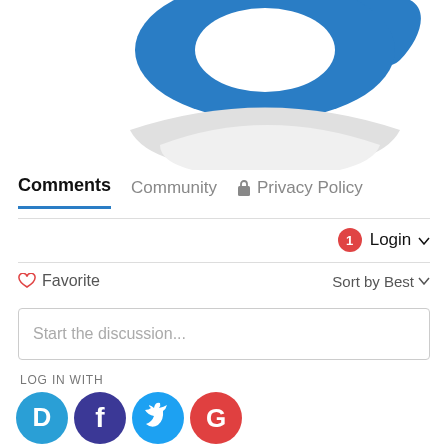[Figure (logo): Disqus logo partial view — blue swoosh shape on top and grey arch/reflection shape below, cropped at top of page]
Comments   Community   🔒 Privacy Policy
🔔1   Login ▾
♡ Favorite   Sort by Best ▾
Start the discussion...
LOG IN WITH
[Figure (logo): Social login icons: Disqus (blue D), Facebook (dark purple f), Twitter (blue bird), Google (red G)]